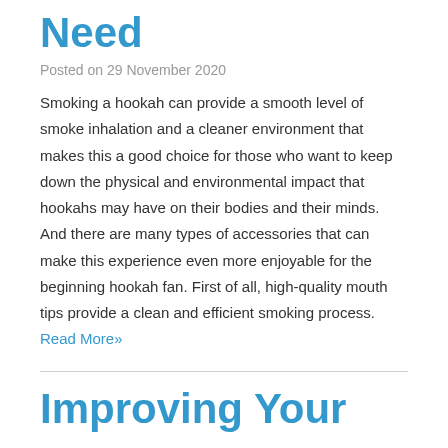Need
Posted on 29 November 2020
Smoking a hookah can provide a smooth level of smoke inhalation and a cleaner environment that makes this a good choice for those who want to keep down the physical and environmental impact that hookahs may have on their bodies and their minds. And there are many types of accessories that can make this experience even more enjoyable for the beginning hookah fan. First of all, high-quality mouth tips provide a clean and efficient smoking process. Read More»
Improving Your